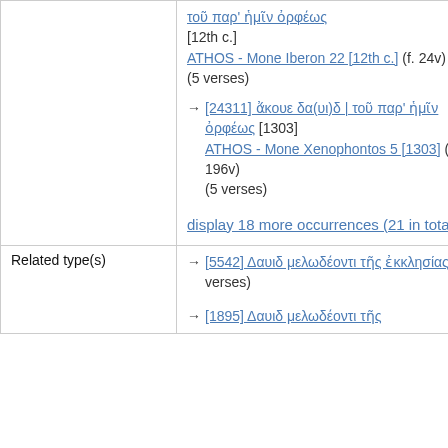|  |  |
| --- | --- |
|  | τοῦ παρ' ἡμῖν ὀρφέως [12th c.] ATHOS - Mone Iberon 22 [12th c.] (f. 24v) (5 verses)
→ [24311] ἄκουε δα(υι)δ | τοῦ παρ' ἡμῖν ὀρφέως [1303] ATHOS - Mone Xenophontos 5 [1303] (f. 196v) (5 verses)
display 18 more occurrences (21 in total) |
| Related type(s) | → [5542] Δαυιδ μελωδέοντι τῆς ἐκκλησίας (25 verses)
→ [1895] Δαυιδ μελωδέοντι τῆς |